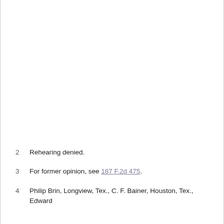2   Rehearing denied.
3   For former opinion, see 187 F.2d 475.
4   Philip Brin, Longview, Tex., C. F. Bainer, Houston, Tex., Edward